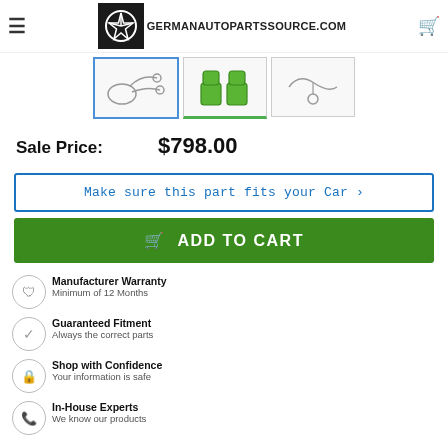GERMANAUTOPARTSSOURCE.COM
[Figure (photo): Three product thumbnail images of Mercedes-Benz parts — wiring/cables, green seat covers diagram, and mirror/bracket diagram]
Sale Price: $798.00
Make sure this part fits your Car >
ADD TO CART
Manufacturer Warranty
Minimum of 12 Months
Guaranteed Fitment
Always the correct parts
Shop with Confidence
Your information is safe
In-House Experts
We know our products
DETAILS
Genuine:
[Figure (logo): Mercedes-Benz three-pointed star logo (grey circle outline)]